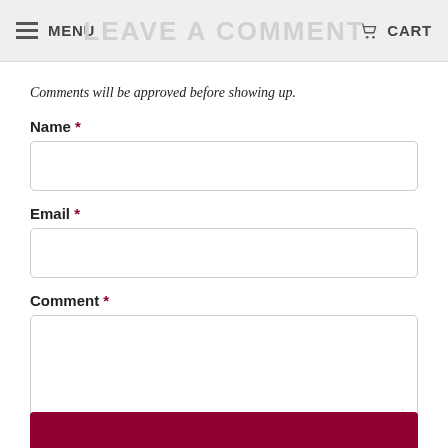MENU | LEAVE A COMMENT | CART
Comments will be approved before showing up.
Name *
Email *
Comment *